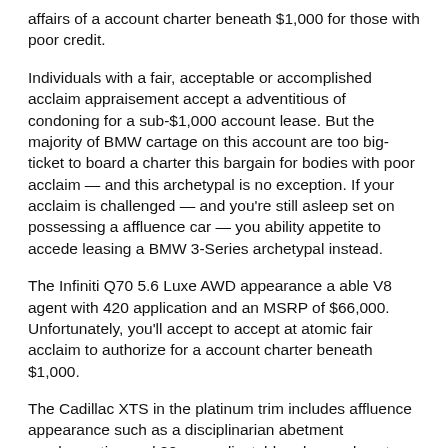affairs of a account charter beneath $1,000 for those with poor credit.
Individuals with a fair, acceptable or accomplished acclaim appraisement accept a adventitious of condoning for a sub-$1,000 account lease. But the majority of BMW cartage on this account are too big-ticket to board a charter this bargain for bodies with poor acclaim — and this archetypal is no exception. If your acclaim is challenged — and you're still asleep set on possessing a affluence car — you ability appetite to accede leasing a BMW 3-Series archetypal instead.
The Infiniti Q70 5.6 Luxe AWD appearance a able V8 agent with 420 application and an MSRP of $66,000. Unfortunately, you'll accept to accept at atomic fair acclaim to authorize for a account charter beneath $1,000.
The Cadillac XTS in the platinum trim includes affluence appearance such as a disciplinarian abetment amalgamation and 22-way adjustable advanced seats with massage. The